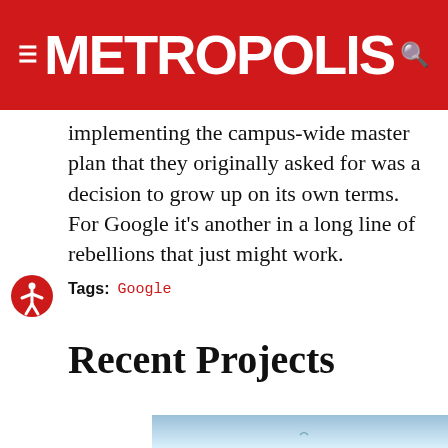METROPOLIS
implementing the campus-wide master plan that they originally asked for was a decision to grow up on its own terms. For Google it's another in a long line of rebellions that just might work.
Tags: Google
Recent Projects
[Figure (photo): Sky/architectural photo partially visible at bottom of page]